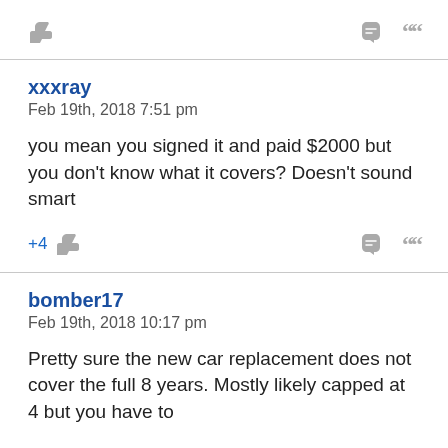👍 (like icon) | ↩ (reply icon) " (quote icon)
xxxray
Feb 19th, 2018 7:51 pm
you mean you signed it and paid $2000 but you don't know what it covers? Doesn't sound smart
+4 👍 | ↩ "
bomber17
Feb 19th, 2018 10:17 pm
Pretty sure the new car replacement does not cover the full 8 years. Mostly likely capped at 4 but you have to